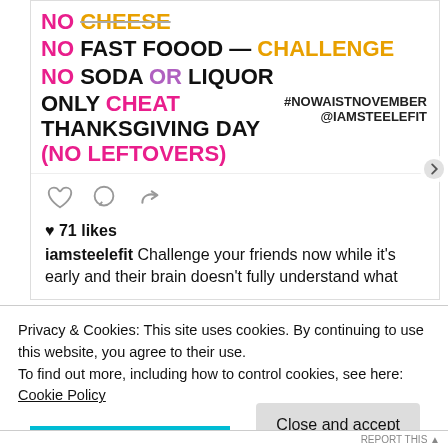[Figure (screenshot): Instagram post screenshot showing a fitness challenge graphic with text: NO CHEESE (partially visible), NO FAST FOOOD — CHALLENGE, NO SODA OR LIQUOR, ONLY CHEAT THANKSGIVING DAY (NO LEFTOVERS), #NOWAISTNOVEMBER @IAMSTEELEFIT. Below: social action icons (heart, comment, share), 71 likes, and caption from iamsteelefit.]
♥ 71 likes
iamsteelefit Challenge your friends now while it's early and their brain doesn't fully understand what
Privacy & Cookies: This site uses cookies. By continuing to use this website, you agree to their use.
To find out more, including how to control cookies, see here: Cookie Policy
Close and accept